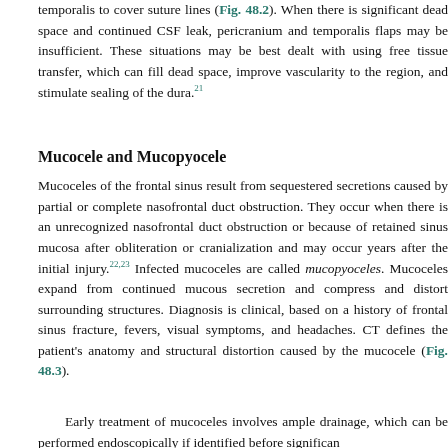temporalis to cover suture lines (Fig. 48.2). When there is significant dead space and continued CSF leak, pericranium and temporalis flaps may be insufficient. These situations may be best dealt with using free tissue transfer, which can fill dead space, improve vascularity to the region, and stimulate sealing of the dura.[21]
Mucocele and Mucopyocele
Mucoceles of the frontal sinus result from sequestered secretions caused by partial or complete nasofrontal duct obstruction. They occur when there is an unrecognized nasofrontal duct obstruction or because of retained sinus mucosa after obliteration or cranialization and may occur years after the initial injury.[22,23] Infected mucoceles are called mucopyoceles. Mucoceles expand from continued mucous secretion and compress and distort surrounding structures. Diagnosis is clinical, based on a history of frontal sinus fracture, fevers, visual symptoms, and headaches. CT defines the patient's anatomy and structural distortion caused by the mucocele (Fig. 48.3).
Early treatment of mucoceles involves ample drainage, which can be performed endoscopically if identified before significan...